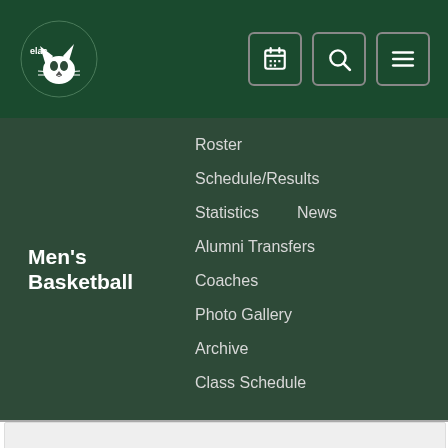[Figure (logo): ELAC Huskies logo with wildcat mascot in white on dark green background]
Men's Basketball
Roster
Schedule/Results
Statistics
News
Alumni Transfers
Coaches
Photo Gallery
Archive
Class Schedule